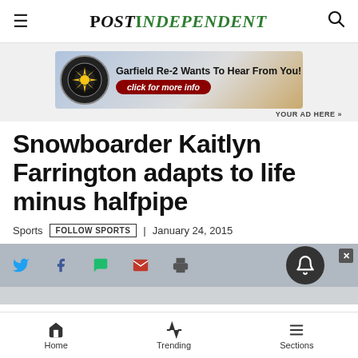Post Independent
[Figure (illustration): Garfield Re-2 advertisement banner: 'Garfield Re-2 Wants To Hear From You! click for more info']
YOUR AD HERE »
Snowboarder Kaitlyn Farrington adapts to life minus halfpipe
Sports | FOLLOW SPORTS | January 24, 2015
[Figure (infographic): Social sharing icons: Twitter, Facebook, chat/comment, email, print. Notification bell button.]
Home  Trending  Sections